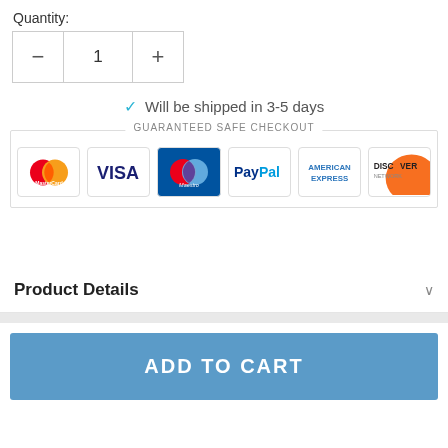Quantity:
[Figure (other): Quantity selector with minus button, quantity field showing 1, and plus button]
✓ Will be shipped in 3-5 days
[Figure (other): Guaranteed Safe Checkout section with payment icons: MasterCard, Visa, Maestro, PayPal, American Express, Discover]
Product Details
ADD TO CART